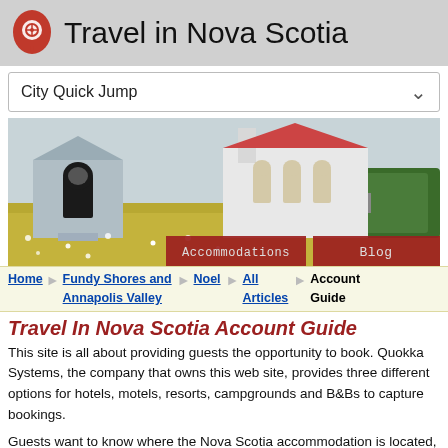Travel in Nova Scotia
[Figure (photo): White wooden church with gothic arched windows set in a field of wildflowers, with trees in the background. Red navigation buttons at bottom: Accommodations and Blog.]
City Quick Jump
Home > Fundy Shores and Annapolis Valley > Noel > All Articles > Account Guide
Travel In Nova Scotia Account Guide
This site is all about providing guests the opportunity to book. Quokka Systems, the company that owns this web site, provides three different options for hotels, motels, resorts, campgrounds and B&Bs to capture bookings.
Guests want to know where the Nova Scotia accommodation is located, if it's available on convenient dates, how much for what type of room or